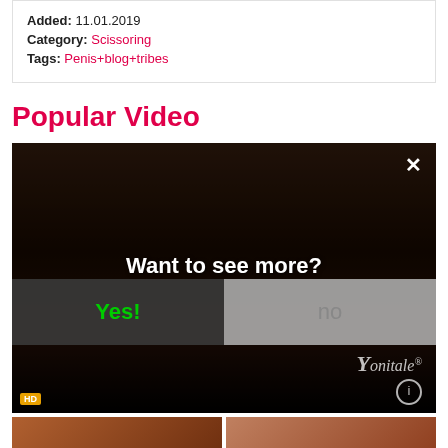Added: 11.01.2019
Category: Scissoring
Tags: Penis+blog+tribes
Popular Video
[Figure (screenshot): Video player screenshot with a modal overlay asking 'Want to see more?' with Yes! and no buttons, Yonitale branding]